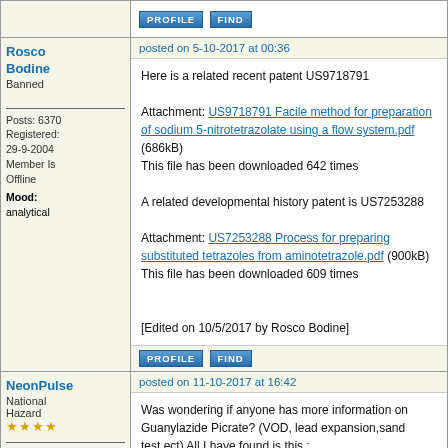PROFILE  FIND
Rosco Bodine
Banned
Posts: 6370
Registered: 29-9-2004
Member Is Offline
Mood: analytical
posted on 5-10-2017 at 00:36
Here is a related recent patent US9718791

Attachment: US9718791 Facile method for preparation of sodium 5-nitrotetrazolate using a flow system.pdf (686kB)
This file has been downloaded 642 times

A related developmental history patent is US7253288

Attachment: US7253288 Process for preparing substituted tetrazoles from aminotetrazole.pdf (900kB)
This file has been downloaded 609 times

[Edited on 10/5/2017 by Rosco Bodine]
PROFILE  FIND
NeonPulse
National Hazard
★★★★
Posts: 417
posted on 11-10-2017 at 16:42
Was wondering if anyone has more information on Guanylazide Picrate? (VOD, lead expansion,sand test,ect) All I have found is this : http://www.sciencemadness.org/talk/files.php?